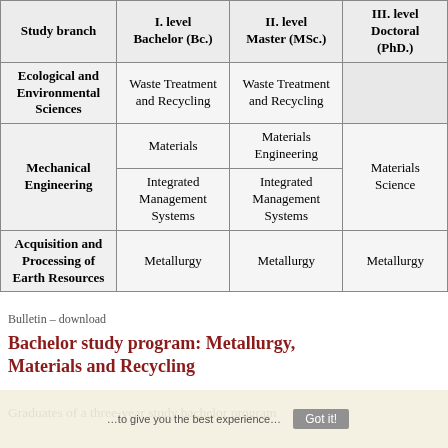| Study branch | I. level Bachelor (Bc.) | II. level Master (MSc.) | III. level Doctoral (PhD.) |
| --- | --- | --- | --- |
| Ecological and Environmental Sciences | Waste Treatment and Recycling | Waste Treatment and Recycling |  |
| Mechanical Engineering | Materials
Integrated Management Systems | Materials Engineering
Integrated Management Systems | Materials Science |
| Acquisition and Processing of Earth Resources | Metallurgy | Metallurgy | Metallurgy |
Bulletin – download
Bachelor study program: Metallurgy, Materials and Recycling
Graduates of a three-year study bachelor program